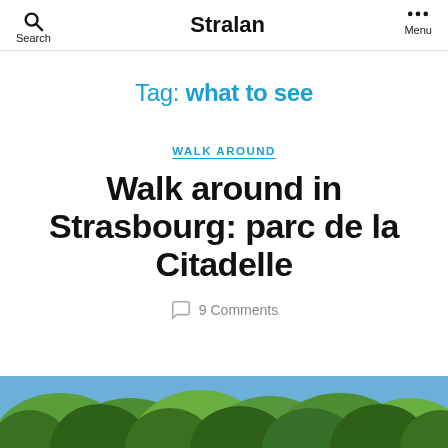Search | Stralan | Menu
Tag: what to see
WALK AROUND
Walk around in Strasbourg: parc de la Citadelle
9 Comments
[Figure (photo): A photo strip showing trees and sky, partially visible at the bottom of the page]